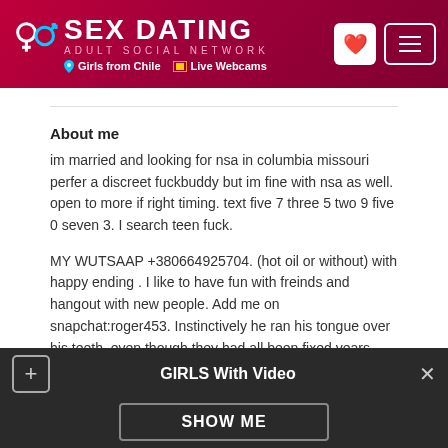SEX DATING ADULT SOCIAL NETWORK | Girls from Chile | Live Webcams
About me
im married and looking for nsa in columbia missouri perfer a discreet fuckbuddy but im fine with nsa as well. open to more if right timing. text five 7 three 5 two 9 five 0 seven 3. I search teen fuck.
MY WUTSAAP +380664925704. (hot oil or without) with happy ending . I like to have fun with freinds and hangout with new people. Add me on snapchat:roger453. Instinctively he ran his tongue over his teeth, even though they had all been fixed years ago, but it was habit; count the cost, then spit it out. I will
GIRLS With Video
SHOW ME